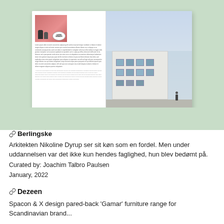[Figure (photo): A magazine spread mockup on a light green background. The left page shows small article text with a reddish image and a circular badge. The right page shows a photo of a white building with a person walking.]
🔗 Berlingske
Arkitekten Nikoline Dyrup ser sit køn som en fordel. Men under uddannelsen var det ikke kun hendes faglighed, hun blev bedømt på.
Curated by: Joachim Talbro Paulsen
January, 2022
🔗 Dezeen
Spacon & X design pared-back 'Gamar' furniture range for Scandinavian brand...